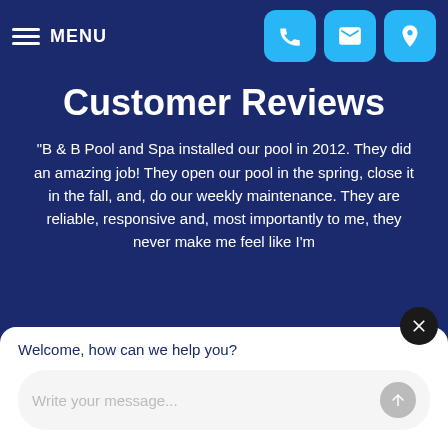MENU
Customer Reviews
“B & B Pool and Spa installed our pool in 2012. They did an amazing job! They open our pool in the spring, close it in the fall, and, do our weekly maintenance. They are reliable, responsive and, most importantly to me, they never make me feel like I’m
Welcome, how can we help you?